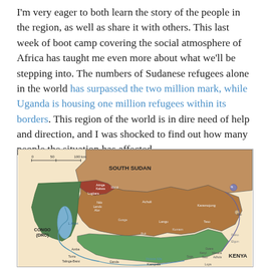I'm very eager to both learn the story of the people in the region, as well as share it with others. This last week of boot camp covering the social atmosphere of Africa has taught me even more about what we'll be stepping into. The numbers of Sudanese refugees alone in the world has surpassed the two million mark, while Uganda is housing one million refugees within its borders. This region of the world is in dire need of help and direction, and I was shocked to find out how many people the situation has affected.
[Figure (map): Map of Uganda and surrounding regions showing ethnic/cultural groups. Labels include South Sudan to the north, Congo (DRC) to the west, Kenya to the east, and various regional group names (Aringa, Kakwa, Ma'di, Lugbara, Acholi, Karamojong, Ndo, Lendu, Alur, Gunge, Langu, Teso, Soo, L. Albert, Kumam, Ruli, Paiko, Elgon, Gwere, Kenyi, Masaba, Teso, Adhola, Amba, Tumu, Talinga-Bwisi, Ganda, Victoria Nile, Soga, Kampala, Kenya, Luya). Scale bar shows 0-50-100 km.]